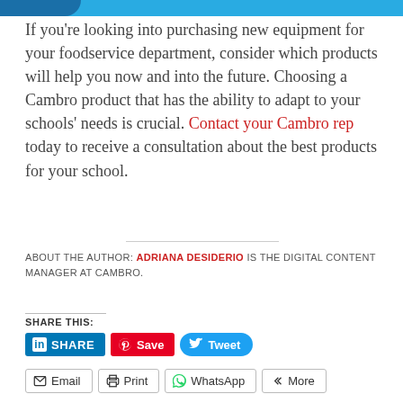[Figure (other): Blue header bar with partial logo/icon visible at top left]
If you're looking into purchasing new equipment for your foodservice department, consider which products will help you now and into the future. Choosing a Cambro product that has the ability to adapt to your schools' needs is crucial. Contact your Cambro rep today to receive a consultation about the best products for your school.
ABOUT THE AUTHOR: ADRIANA DESIDERIO IS THE DIGITAL CONTENT MANAGER AT CAMBRO.
SHARE THIS:
SHARE | Save | Tweet | Email | Print | WhatsApp | More